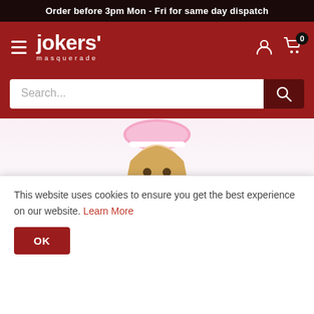Order before 3pm Mon - Fri for same day dispatch
[Figure (logo): Jokers' Masquerade logo - white text on red background with hamburger menu icon]
[Figure (screenshot): Search bar with placeholder text 'Search...' and dark red search button with magnifying glass icon]
[Figure (photo): Woman wearing a pink maid/fancy dress costume with pink lace headpiece, blonde hair, smiling]
This website uses cookies to ensure you get the best experience on our website. Learn More
OK